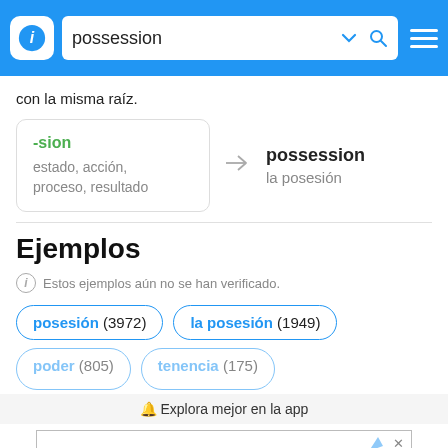possession
con la misma raíz.
[Figure (infographic): Morphology diagram: box with '-sion' suffix (green) and 'estado, acción, proceso, resultado' meaning, arrow pointing to 'possession / la posesión']
Ejemplos
Estos ejemplos aún no se han verificado.
posesión (3972)
la posesión (1949)
poder (805)
tenencia (175)
🔔 Explora mejor en la app